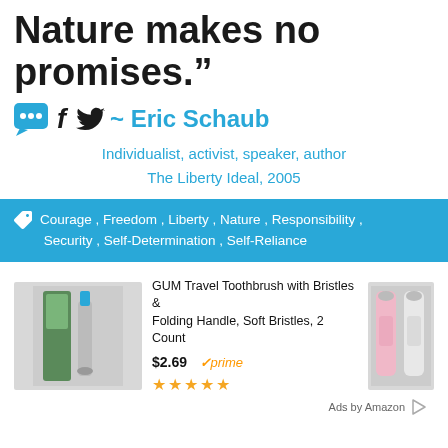Nature makes no promises.”
• f 🐦~ Eric Schaub
Individualist, activist, speaker, author
The Liberty Ideal, 2005
🏷 Courage , Freedom , Liberty , Nature , Responsibility , Security , Self-Determination , Self-Reliance
[Figure (other): Amazon ad: GUM Travel Toothbrush with Bristles & Folding Handle, Soft Bristles, 2 Count. Price $2.69, Prime, 5-star rating. Two product images shown.]
Ads by Amazon